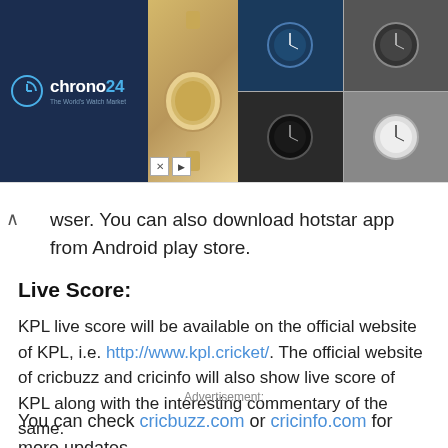[Figure (photo): Chrono24 advertisement banner showing luxury watches — a gold Rolex Datejust on the left, and four smaller watch images on the right including blue dial, black dial, and white dial watches.]
wser. You can also download hotstar app from Android play store.
Live Score:
KPL live score will be available on the official website of KPL, i.e. http://www.kpl.cricket/. The official website of cricbuzz and cricinfo will also show live score of KPL along with the interesting commentary of the same.
Advertisement:
You can check cricbuzz.com or cricinfo.com for more updates.